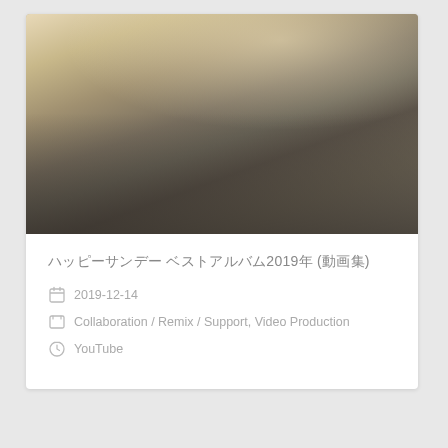[Figure (photo): Indoor live music performance photo showing several musicians on a small stage with warm lighting. Multiple performers visible including one in an orange shirt, one in a striped shirt, one holding a yellow hat. Audience members visible in foreground. A projection screen with text visible in background.]
ハッピーサンデー ベストアルバム2019年 (動画集)
2019-12-14
Collaboration / Remix / Support, Video Production
YouTube